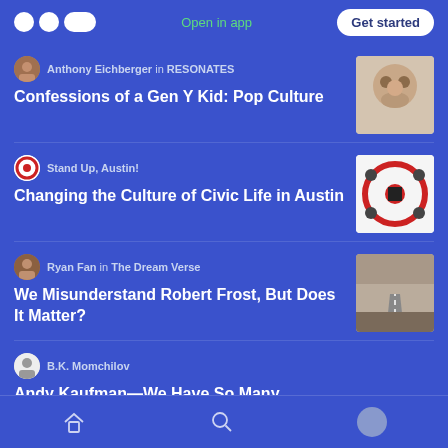Medium app header — logo, Open in app, Get started
Anthony Eichberger in RESONATES — Confessions of a Gen Y Kid: Pop Culture
Stand Up, Austin! — Changing the Culture of Civic Life in Austin
Ryan Fan in The Dream Verse — We Misunderstand Robert Frost, But Does It Matter?
B.K. Momchilov — Andy Kaufman—We Have So Many Questions
Bottom navigation: Home, Search, Profile